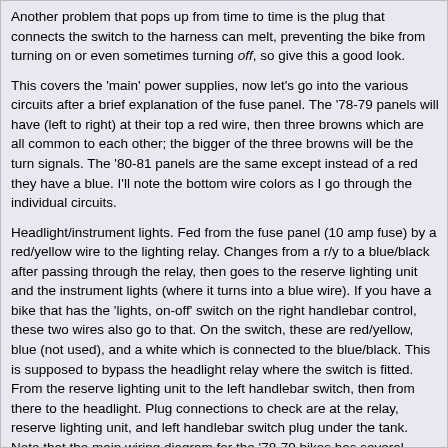Another problem that pops up from time to time is the plug that connects the switch to the harness can melt, preventing the bike from turning on or even sometimes turning off, so give this a good look.
This covers the 'main' power supplies, now let's go into the various circuits after a brief explanation of the fuse panel. The '78-79 panels will have (left to right) at their top a red wire, then three browns which are all common to each other; the bigger of the three browns will be the turn signals. The '80-81 panels are the same except instead of a red they have a blue. I'll note the bottom wire colors as I go through the individual circuits.
Headlight/instrument lights. Fed from the fuse panel (10 amp fuse) by a red/yellow wire to the lighting relay. Changes from a r/y to a blue/black after passing through the relay, then goes to the reserve lighting unit and the instrument lights (where it turns into a blue wire). If you have a bike that has the 'lights, on-off' switch on the right handlebar control, these two wires also go to that. On the switch, these are red/yellow, blue (not used), and a white which is connected to the blue/black. This is supposed to bypass the headlight relay where the switch is fitted. From the reserve lighting unit to the left handlebar switch, then from there to the headlight. Plug connections to check are at the relay, reserve lighting unit, and left handlebar switch plug under the tank. Note that the main wiring diagram for the '78-79 bikes has several mistakes in how this circuit is drawn, so go to the unit repair section for accurate info.
Tail/running lights. If you have a '78-79 bike, these are fed directly from the ignition switch with a blue wire. On the '80-81 bikes, the blue wire from the switch goes to the fuse panel (10 amp fuse), then to the lights